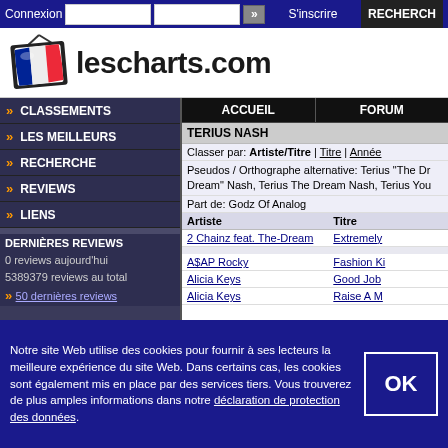Connexion | S'inscrire | RECHERCHE
[Figure (logo): lescharts.com logo with TV icon and French flag]
lescharts.com
CLASSEMENTS
LES MEILLEURS
RECHERCHE
REVIEWS
LIENS
DERNIÈRES REVIEWS
0 reviews aujourd'hui
5389379 reviews au total
50 dernières reviews
| ACCUEIL | FORUM |
| --- | --- |
TERIUS NASH
Classer par: Artiste/Titre | Titre | Année
Pseudos / Orthographe alternative: Terius "The Dream" Nash, Terius The Dream Nash, Terius You
Part de: Godz Of Analog
| Artiste | Titre |
| --- | --- |
| 2 Chainz feat. The-Dream | Extremely |
| A$AP Rocky | Fashion Ki |
| Alicia Keys | Good Job |
| Alicia Keys | Raise A M |
Notre site Web utilise des cookies pour fournir à ses lecteurs la meilleure expérience du site Web. Dans certains cas, les cookies sont également mis en place par des services tiers. Vous trouverez de plus amples informations dans notre déclaration de protection des données.